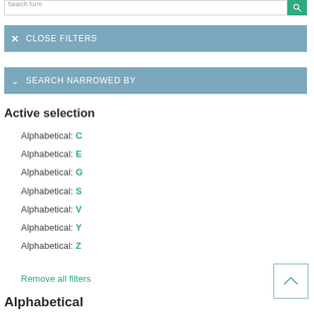Search form
CLOSE FILTERS
SEARCH NARROWED BY
Active selection
Alphabetical: C
Alphabetical: E
Alphabetical: G
Alphabetical: S
Alphabetical: V
Alphabetical: Y
Alphabetical: Z
Remove all filters
Alphabetical